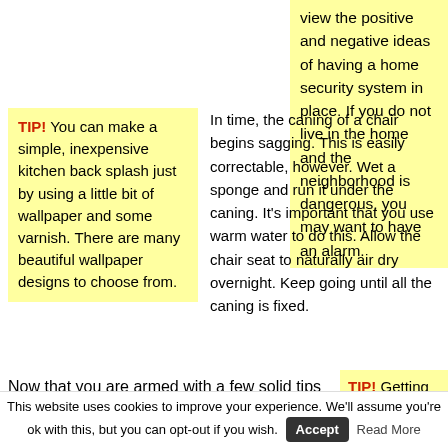View the positive and negative ideas of having a home security system in place. If you do not live in the home and the neighborhood is dangerous, you may want to have an alarm.
TIP! You can make a simple, inexpensive kitchen back splash just by using a little bit of wallpaper and some varnish. There are many beautiful wallpaper designs to choose from.
In time, the caning of a chair begins sagging. This is easily correctable, however. Wet a sponge and run it under the caning. It's important that you use warm water to do this. Allow the chair seat to naturally air dry overnight. Keep going until all the caning is fixed.
Now that you are armed with a few solid tips to guide you, making a sound decision
TIP! Getting new appliances is very
This website uses cookies to improve your experience. We'll assume you're ok with this, but you can opt-out if you wish.  Accept  Read More